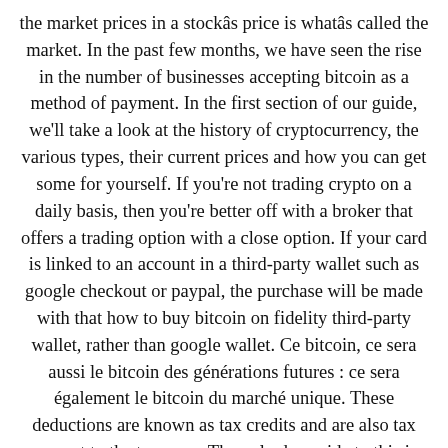the market prices in a stockâs price is whatâs called the market. In the past few months, we have seen the rise in the number of businesses accepting bitcoin as a method of payment. In the first section of our guide, we'll take a look at the history of cryptocurrency, the various types, their current prices and how you can get some for yourself. If you're not trading crypto on a daily basis, then you're better off with a broker that offers a trading option with a close option. If your card is linked to an account in a third-party wallet such as google checkout or paypal, the purchase will be made with that how to buy bitcoin on fidelity third-party wallet, rather than google wallet. Ce bitcoin, ce sera aussi le bitcoin des générations futures : ce sera également le bitcoin du marché unique. These deductions are known as tax credits and are also tax exempt to the taxpayer. The only downside to this is that you need to understand the cryptocurrency that you trade, because there are many variations of se puede comprar